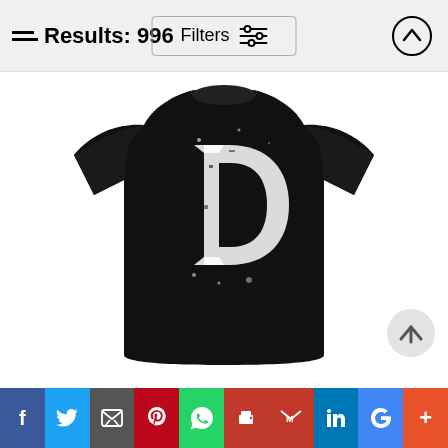Results: 996
[Figure (screenshot): Black women's t-shirt with a distressed white Detroit Tigers 'D' logo on the chest]
Social share bar: f, Twitter, email, Pinterest, WhatsApp, print, Gmail, LinkedIn, Google, More